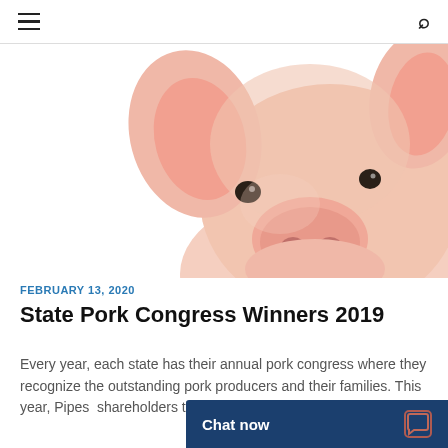Navigation bar with hamburger menu and search icon
[Figure (photo): Close-up photo of a young pink piglet against a white background, facing slightly to the right, showing its face and snout clearly.]
FEBRUARY 13, 2020
State Pork Congress Winners 2019
Every year, each state has their annual pork congress where they recognize the outstanding pork producers and their families. This year, Pipes shareholders that receiv
Chat now